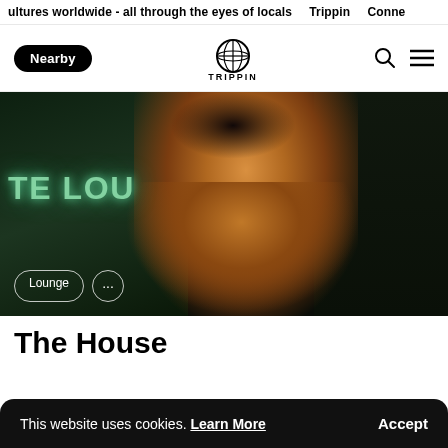ultures worldwide - all through the eyes of locals   Trippin   Conne
Nearby  TRIPPIN
[Figure (photo): A woman wearing headphones and a cross necklace, dressed in a brown off-shoulder top, looking down. Background shows neon text partially reading 'TE LOU' on a dark green wall. Lounge and '...' badge overlays at bottom left.]
The House
This website uses cookies. Learn More   Accept